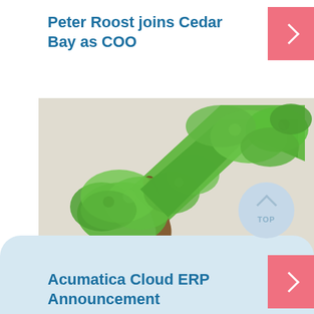Peter Roost joins Cedar Bay as COO
[Figure (illustration): A bonsai tree with its foliage shaped like an upward-pointing stock market arrow, set against a light stone/concrete background. The tree trunk is brown/woody and the canopy is bright green, with the arrow shape growing upward to the right.]
Acumatica Cloud ERP Announcement